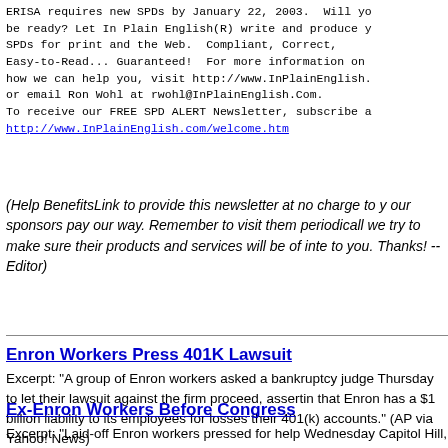ERISA requires new SPDs by January 22, 2003.  Will you be ready? Let In Plain English(R) write and produce your SPDs for print and the Web.  Compliant, Correct, Easy-to-Read... Guaranteed!  For more information on how we can help you, visit http://www.InPlainEnglish. or email Ron Wohl at rwohl@InPlainEnglish.Com. To receive our FREE SPD ALERT Newsletter, subscribe at http://www.InPlainEnglish.com/welcome.htm
(Help BenefitsLink to provide this newsletter at no charge to you -- our sponsors pay our way. Remember to visit them periodically -- we try to make sure their products and services will be of interest to you. Thanks! --Editor)
Enron Workers Press 401K Lawsuit
Excerpt: "A group of Enron workers asked a bankruptcy judge Thursday to let their lawsuit against the firm proceed, asserting that Enron has a $1 billion liability to its employees for losses in their 401(k) accounts." (AP via Yahoo! News)
Ex-Enron Workers Before Congress
Excerpt: "Laid-off Enron workers pressed for help Wednesday on Capitol Hill, putting faces to some of the stories of retirement nest eggs lost when the company collapsed. Organized by the Re...